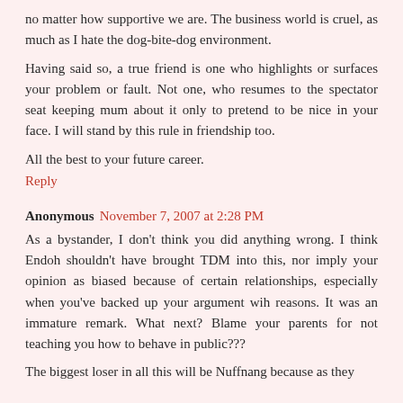no matter how supportive we are. The business world is cruel, as much as I hate the dog-bite-dog environment.
Having said so, a true friend is one who highlights or surfaces your problem or fault. Not one, who resumes to the spectator seat keeping mum about it only to pretend to be nice in your face. I will stand by this rule in friendship too.
All the best to your future career.
Reply
Anonymous November 7, 2007 at 2:28 PM
As a bystander, I don't think you did anything wrong. I think Endoh shouldn't have brought TDM into this, nor imply your opinion as biased because of certain relationships, especially when you've backed up your argument wih reasons. It was an immature remark. What next? Blame your parents for not teaching you how to behave in public???
The biggest loser in all this will be Nuffnang because as they